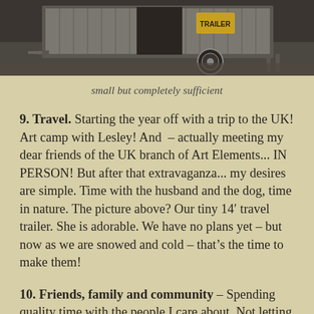[Figure (photo): A small travel trailer (14 foot) with an open door/side panel, shown outdoors in a natural setting. Dark colored with aluminum/metallic accents.]
small but completely sufficient
9. Travel. Starting the year off with a trip to the UK! Art camp with Lesley! And – actually meeting my dear friends of the UK branch of Art Elements... IN PERSON! But after that extravaganza... my desires are simple. Time with the husband and the dog, time in nature. The picture above? Our tiny 14' travel trailer. She is adorable. We have no plans yet – but now as we are snowed and cold – that's the time to make them!
10. Friends, family and community – Spending quality time with the people I care about. Not letting the job get in the way... and that means online friends and community as well. Taking the